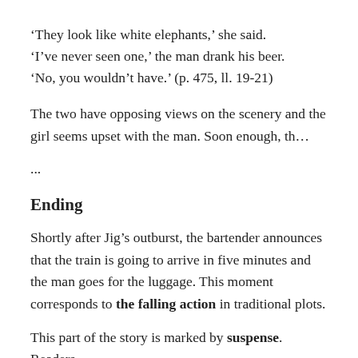‘They look like white elephants,’ she said.
‘I’ve never seen one,’ the man drank his beer.
‘No, you wouldn’t have.’ (p. 475, ll. 19-21)
The two have opposing views on the scenery and the girl seems upset with the man. Soon enough, th…
...
Ending
Shortly after Jig’s outburst, the bartender announces that the train is going to arrive in five minutes and the man goes for the luggage. This moment corresponds to the falling action in traditional plots.
This part of the story is marked by suspense. Readers